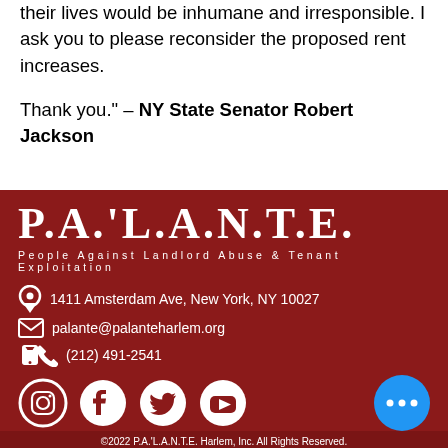their lives would be inhumane and irresponsible. I ask you to please reconsider the proposed rent increases.

Thank you." – NY State Senator Robert Jackson
[Figure (logo): P.A.'L.A.N.T.E. logo on dark red background — People Against Landlord Abuse & Tenant Exploitation. Contact info: 1411 Amsterdam Ave, New York, NY 10027; palante@palanteharlem.org; (212) 491-2541. Social media icons for Instagram, Facebook, Twitter, YouTube, and a blue more button. Copyright 2022 P.A.'L.A.N.T.E. Harlem, Inc. All Rights Reserved.]